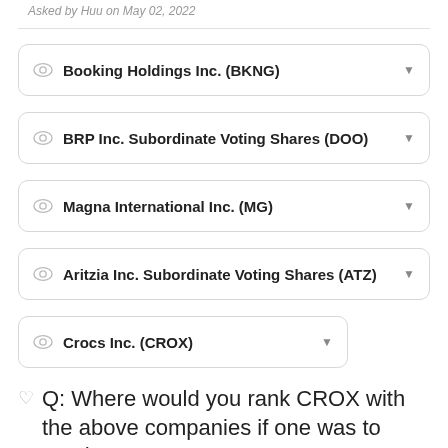Asked by Huu on May 02, 2022
Booking Holdings Inc. (BKNG)
BRP Inc. Subordinate Voting Shares (DOO)
Magna International Inc. (MG)
Aritzia Inc. Subordinate Voting Shares (ATZ)
Crocs Inc. (CROX)
Q: Where would you rank CROX with the above companies if one was to purchase